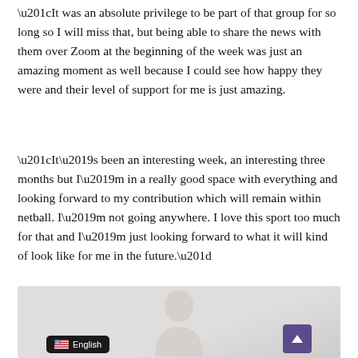“It was an absolute privilege to be part of that group for so long so I will miss that, but being able to share the news with them over Zoom at the beginning of the week was just an amazing moment as well because I could see how happy they were and their level of support for me is just amazing.
“It’s been an interesting week, an interesting three months but I’m in a really good space with everything and looking forward to my contribution which will remain within netball. I’m not going anywhere. I love this sport too much for that and I’m just looking forward to what it will kind of look like for me in the future.”
[Figure (photo): A partially visible portrait photo of a person with light background, shown cropped from approximately the shoulders up. A language selector badge showing a US flag and 'English' appears in the lower left, and a purple scroll-to-top arrow button appears in the lower right.]